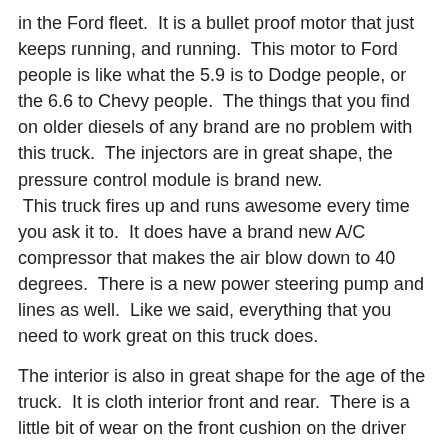in the Ford fleet.  It is a bullet proof motor that just keeps running, and running.  This motor to Ford people is like what the 5.9 is to Dodge people, or the 6.6 to Chevy people.  The things that you find on older diesels of any brand are no problem with this truck.  The injectors are in great shape, the pressure control module is brand new.  This truck fires up and runs awesome every time you ask it to.  It does have a brand new A/C compressor that makes the air blow down to 40 degrees.  There is a new power steering pump and lines as well.  Like we said, everything that you need to work great on this truck does.
The interior is also in great shape for the age of the truck.  It is cloth interior front and rear.  There is a little bit of wear on the front cushion on the driver side, but not ripped all the way through.  The radio, cd, and cassette, yes I said cassette player all work.  This truck has a tilt wheel, cruise control and they work as well.  All of the gauges work just like they should.  This is a very comfortable truck to drive.
Underneath is rust free as this truck spent the majority of it's life in TX.  As you see in the picks, it does have the rear